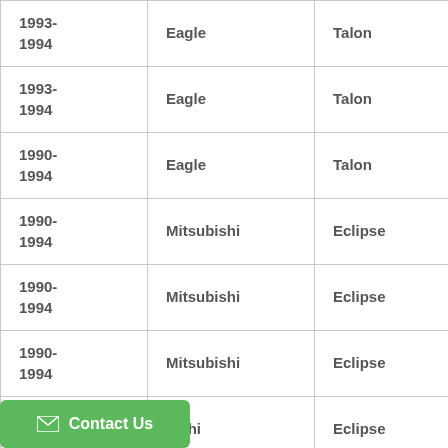| 1993-1994 | Eagle | Talon | DL |
| 1993-1994 | Eagle | Talon | ES |
| 1990-1994 | Eagle | Talon | TSi |
| 1990-1994 | Mitsubishi | Eclipse | Base |
| 1990-1994 | Mitsubishi | Eclipse | GS |
| 1990-1994 | Mitsubishi | Eclipse | GST |
| 1990-... | Mitsubishi | Eclipse | GSX |